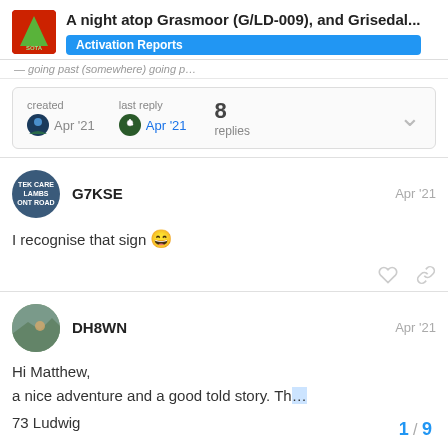A night atop Grasmoor (G/LD-009), and Grisedal... — Activation Reports
created Apr '21   last reply Apr '21   8 replies
G7KSE   Apr '21
I recognise that sign 😄
DH8WN   Apr '21
Hi Matthew,
a nice adventure and a good told story. Th...
73 Ludwig
1 / 9